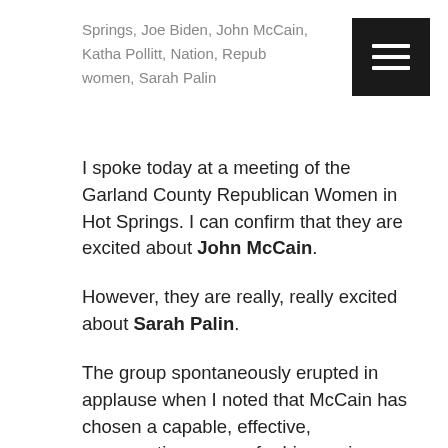Springs, Joe Biden, John McCain, Katha Pollitt, Nation, Republican women, Sarah Palin
I spoke today at a meeting of the Garland County Republican Women in Hot Springs. I can confirm that they are excited about John McCain.
However, they are really, really excited about Sarah Palin.
The group spontaneously erupted in applause when I noted that McCain has chosen a capable, effective, conservative woman for his running mate.
During the question and answer period, several were interested in why Barack Obama and Joe Biden are going after Palin so aggressively. It is, after all, more than a little unusual for the